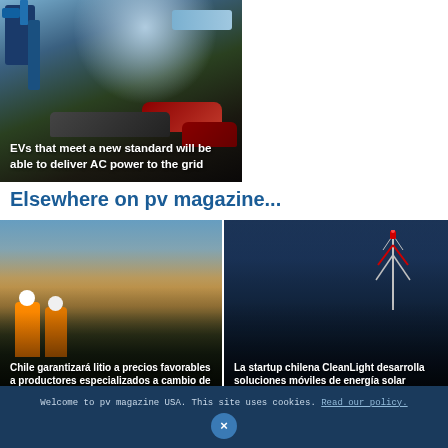[Figure (photo): Photo of EV charging station with cars in background, dark overlay]
EVs that meet a new standard will be able to deliver AC power to the grid
Elsewhere on pv magazine...
[Figure (photo): Photo of two workers in hard hats and orange vests at a mining or industrial site]
Chile garantizará litio a precios favorables a productores especializados a cambio de iniciativas de valor agregado
[Figure (photo): Photo of a communication tower against dark blue sky at dusk]
La startup chilena CleanLight desarrolla soluciones móviles de energía solar personalizadas para la industria
Welcome to pv magazine USA. This site uses cookies. Read our policy.